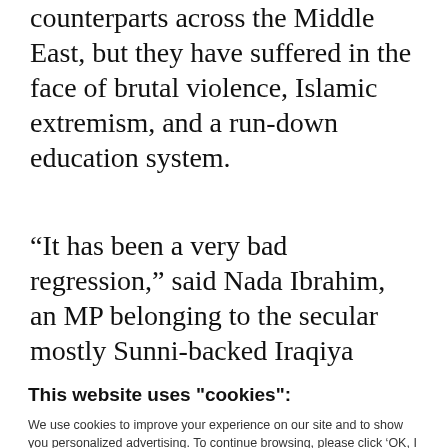counterparts across the Middle East, but they have suffered in the face of brutal violence, Islamic extremism, and a run-down education system.
“It has been a very bad regression,” said Nada Ibrahim, an MP belonging to the secular mostly Sunni-backed Iraqiya
This website uses "cookies":
We use cookies to improve your experience on our site and to show you personalized advertising. To continue browsing, please click ‘OK, I Accept’.
For more information, please read our Privacy Policy
Ok, I Accept